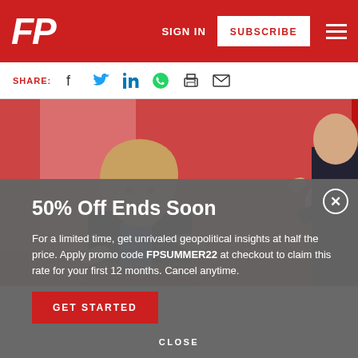FP — SIGN IN | SUBSCRIBE
SHARE:
[Figure (photo): Hillary Clinton gesturing with hands at an NBC News debate; another figure pointing from the right side]
50% Off Ends Soon
For a limited time, get unrivaled geopolitical insights at half the price. Apply promo code FPSUMMER22 at checkout to claim this rate for your first 12 months. Cancel anytime.
GET STARTED
CLOSE